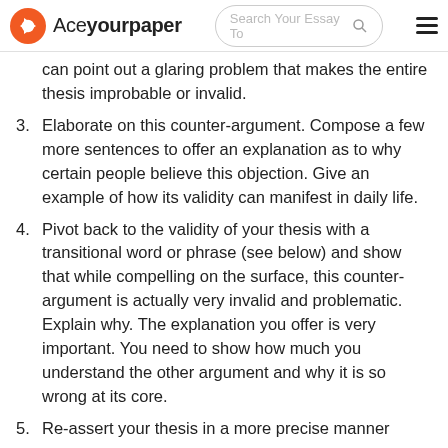Aceyourpaper | Search Your Essay Topic
can point out a glaring problem that makes the entire thesis improbable or invalid.
3. Elaborate on this counter-argument. Compose a few more sentences to offer an explanation as to why certain people believe this objection. Give an example of how its validity can manifest in daily life.
4. Pivot back to the validity of your thesis with a transitional word or phrase (see below) and show that while compelling on the surface, this counter-argument is actually very invalid and problematic. Explain why. The explanation you offer is very important. You need to show how much you understand the other argument and why it is so wrong at its core.
5. Re-assert your thesis in a more precise manner